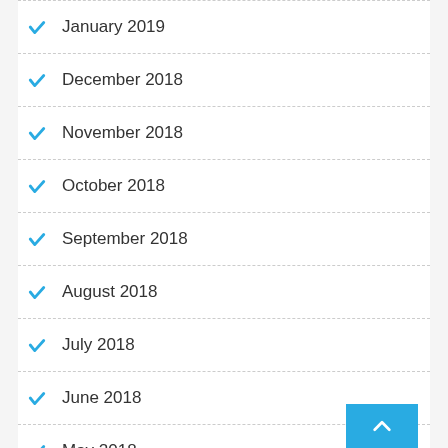January 2019
December 2018
November 2018
October 2018
September 2018
August 2018
July 2018
June 2018
May 2018